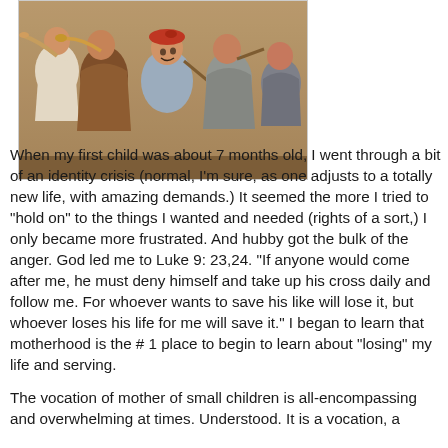[Figure (illustration): A painting of several young children, one blowing a trumpet, one wearing a red beret smiling at the camera, others holding sticks or tools, in 19th-century style clothing.]
When my first child was about 7 months old, I went through a bit of an identity crisis (normal, I'm sure, as one adjusts to a totally new life, with amazing demands.) It seemed the more I tried to "hold on" to the things I wanted and needed (rights of a sort,) I only became more frustrated. And hubby got the bulk of the anger. God led me to Luke 9: 23,24. "If anyone would come after me, he must deny himself and take up his cross daily and follow me. For whoever wants to save his like will lose it, but whoever loses his life for me will save it." I began to learn that motherhood is the # 1 place to begin to learn about "losing" my life and serving.
The vocation of mother of small children is all-encompassing and overwhelming at times. Understood. It is a vocation, a